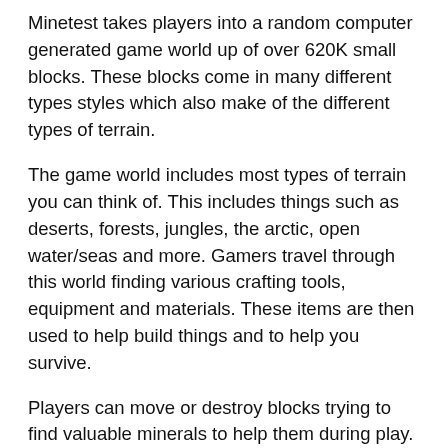Minetest takes players into a random computer generated game world up of over 620K small blocks. These blocks come in many different types styles which also make of the different types of terrain.
The game world includes most types of terrain you can think of. This includes things such as deserts, forests, jungles, the arctic, open water/seas and more. Gamers travel through this world finding various crafting tools, equipment and materials. These items are then used to help build things and to help you survive.
Players can move or destroy blocks trying to find valuable minerals to help them during play. Similarly players can destroy or move blocks to plant crops, flatten land to construct a home and more. Similarly every block in the game world can be removed with the right tool. The game gives players a near